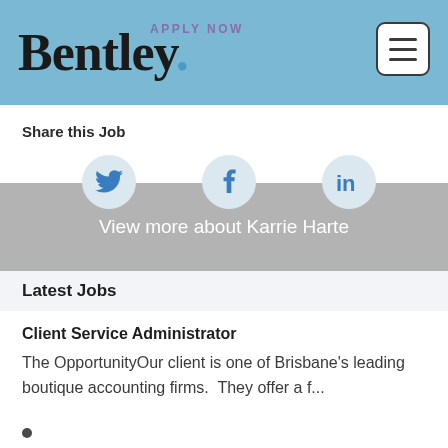Bentley. APPLY NOW
Share this Job
[Figure (infographic): Social share icons: Twitter bird icon, Facebook 'f' icon, LinkedIn 'in' icon, with a gray overlay banner reading 'View more about Karrie Harte']
Latest Jobs
Client Service Administrator
The OpportunityOur client is one of Brisbane's leading boutique accounting firms.  They offer a f...